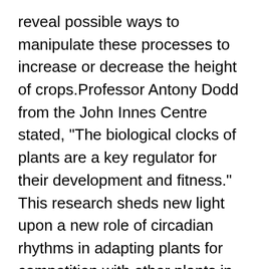reveal possible ways to manipulate these processes to increase or decrease the height of crops.Professor Antony Dodd from the John Innes Centre stated, "The biological clocks of plants are a key regulator for their development and fitness." This research sheds new light upon a new role of circadian rhythms in adapting plants for competition with other plants in their environment.Kerry Franklin, University of Bristol, stated that “most of plant shade prevention research focuses upon early neighbor detection and moderate shading.” This research provides new insight into how plants adapt to deep shade where resources are severely restricted.This study shows that the circadian clock is resilient and stable in stressful environments. This